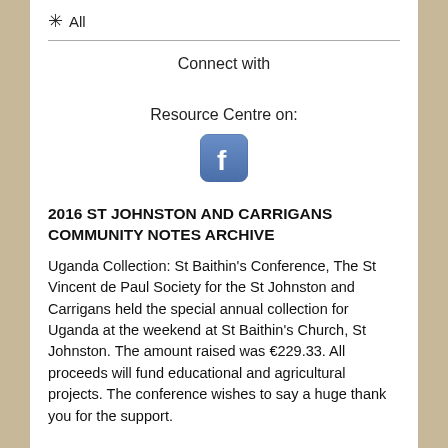✳ All
Connect with

Resource Centre on:
[Figure (logo): Facebook logo icon — blue rounded square with white 'f' lettermark]
2016 ST JOHNSTON AND CARRIGANS COMMUNITY NOTES ARCHIVE
Uganda Collection: St Baithin's Conference, The St Vincent de Paul Society for the St Johnston and Carrigans held the special annual collection for Uganda at the weekend at St Baithin's Church, St Johnston. The amount raised was €229.33. All proceeds will fund educational and agricultural projects. The conference wishes to say a huge thank you for the support.